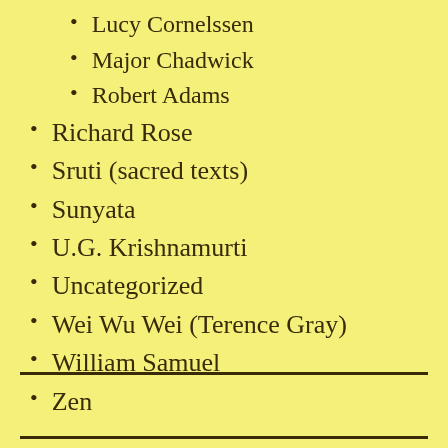Lucy Cornelssen
Major Chadwick
Robert Adams
Richard Rose
Sruti (sacred texts)
Sunyata
U.G. Krishnamurti
Uncategorized
Wei Wu Wei (Terence Gray)
William Samuel
Zen